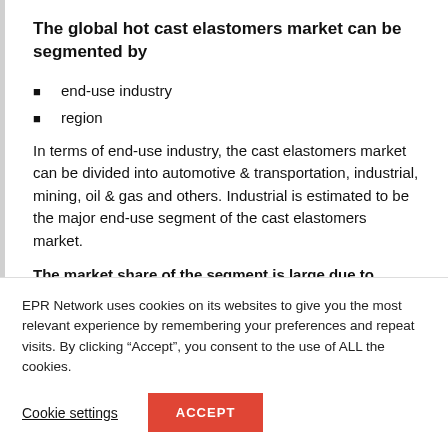The global hot cast elastomers market can be segmented by
end-use industry
region
In terms of end-use industry, the cast elastomers market can be divided into automotive & transportation, industrial, mining, oil & gas and others. Industrial is estimated to be the major end-use segment of the cast elastomers market.
The market share of the segment is large due to
EPR Network uses cookies on its websites to give you the most relevant experience by remembering your preferences and repeat visits. By clicking “Accept”, you consent to the use of ALL the cookies.